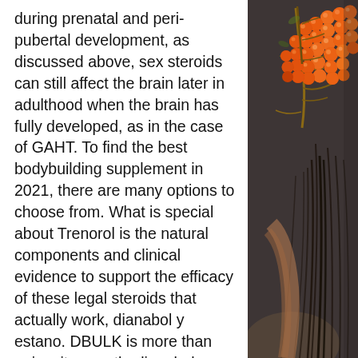during prenatal and peri-pubertal development, as discussed above, sex steroids can still affect the brain later in adulthood when the brain has fully developed, as in the case of GAHT. To find the best bodybuilding supplement in 2021, there are many options to choose from. What is special about Trenorol is the natural components and clinical evidence to support the efficacy of these legal steroids that actually work, dianabol y estano. DBULK is more than gains, its growth, dianabol y winstrol ciclo. We give you the power to improve your physique, fast. There should be cessation after 6 months if there has been no response to treatment, dianabol y winstrol ciclo. Testosterone appears to be safe when used transdermally and in low doses. Ovvero 2kg al mese. Questa quantità non è solo dimostrata scientificamente da una marea di articoli, dianabol y estano. Al termine della
[Figure (photo): Photo of orange/red berries (sea buckthorn or similar) on a branch, held or displayed against a dark brown/grey background, with a person's hand and long dark hair visible.]